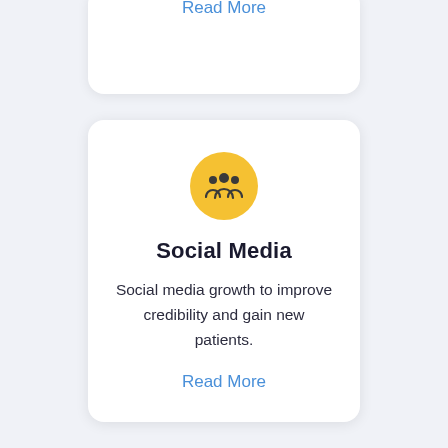Read More
[Figure (illustration): Yellow circle icon with a group of people / audience silhouette in dark color]
Social Media
Social media growth to improve credibility and gain new patients.
Read More